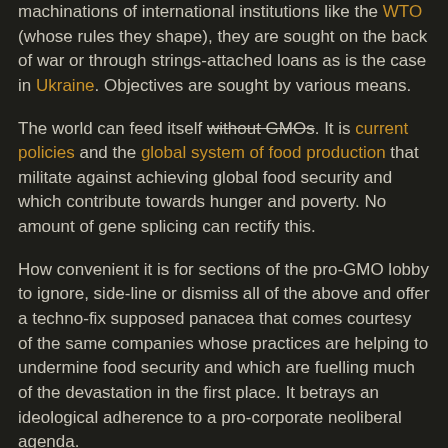machinations of international institutions like the WTO (whose rules they shape), they are sought on the back of war or through strings-attached loans as is the case in Ukraine. Objectives are sought by various means.
The world can feed itself without GMOs. It is current policies and the global system of food production that militate against achieving global food security and which contribute towards hunger and poverty. No amount of gene splicing can rectify this.
How convenient it is for sections of the pro-GMO lobby to ignore, side-line or dismiss all of the above and offer a techno-fix supposed panacea that comes courtesy of the same companies whose practices are helping to undermine food security and which are fuelling much of the devastation in the first place. It betrays an ideological adherence to a pro-corporate neoliberal agenda.